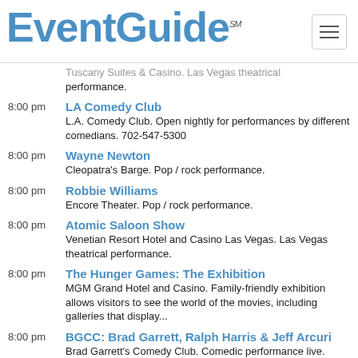EventGuide℠
Tuscany Suites & Casino. Las Vegas theatrical performance.
8:00 pm — LA Comedy Club. L.A. Comedy Club. Open nightly for performances by different comedians. 702-547-5300
8:00 pm — Wayne Newton. Cleopatra's Barge. Pop / rock performance.
8:00 pm — Robbie Williams. Encore Theater. Pop / rock performance.
8:00 pm — Atomic Saloon Show. Venetian Resort Hotel and Casino Las Vegas. Las Vegas theatrical performance.
8:00 pm — The Hunger Games: The Exhibition. MGM Grand Hotel and Casino. Family-friendly exhibition allows visitors to see the world of the movies, including galleries that display...
8:00 pm — BGCC: Brad Garrett, Ralph Harris & Jeff Arcuri. Brad Garrett's Comedy Club. Comedic performance live.
8:00 pm — George Wallace. Westgate Cabaret. Comedic performance live.